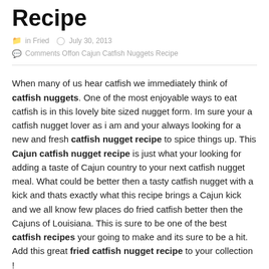Recipe
in Fried   July 30, 2013
Comments Off on Cajun Catfish Nuggets Recipe
When many of us hear catfish we immediately think of catfish nuggets. One of the most enjoyable ways to eat catfish is in this lovely bite sized nugget form. Im sure your a catfish nugget lover as i am and your always looking for a new and fresh catfish nugget recipe to spice things up. This Cajun catfish nugget recipe is just what your looking for adding a taste of Cajun country to your next catfish nugget meal. What could be better then a tasty catfish nugget with a kick and thats exactly what this recipe brings a Cajun kick and we all know few places do fried catfish better then the Cajuns of Louisiana. This is sure to be one of the best catfish recipes your going to make and its sure to be a hit. Add this great fried catfish nugget recipe to your collection !